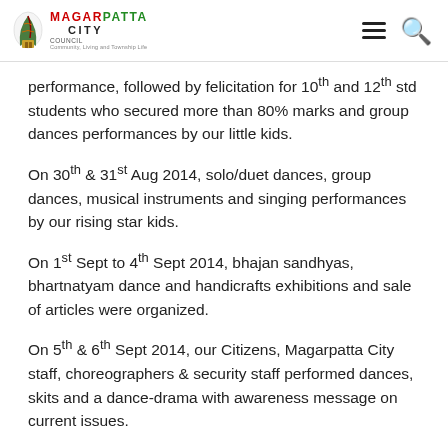MAGARPATTA CITY COUNCIL
performance, followed by felicitation for 10th and 12th std students who secured more than 80% marks and group dances performances by our little kids.
On 30th & 31st Aug 2014, solo/duet dances, group dances, musical instruments and singing performances by our rising star kids.
On 1st Sept to 4th Sept 2014, bhajan sandhyas, bhartnatyam dance and handicrafts exhibitions and sale of articles were organized.
On 5th & 6th Sept 2014, our Citizens, Magarpatta City staff, choreographers & security staff performed dances, skits and a dance-drama with awareness message on current issues.
On 7th Sept 2014, our singers and Rdx Orchestra had a